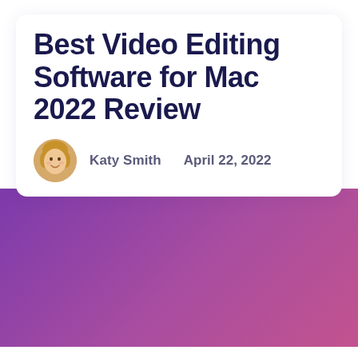Best Video Editing Software for Mac 2022 Review
Katy Smith   April 22, 2022
[Figure (photo): Purple/magenta gradient banner background image]
It won't be wrong to say, most of the video editing software companies are a little biased against Mac users.